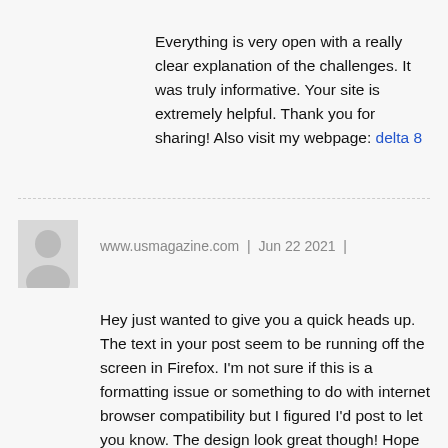Everything is very open with a really clear explanation of the challenges. It was truly informative. Your site is extremely helpful. Thank you for sharing! Also visit my webpage: delta 8
www.usmagazine.com | Jun 22 2021 |
Hey just wanted to give you a quick heads up. The text in your post seem to be running off the screen in Firefox. I'm not sure if this is a formatting issue or something to do with internet browser compatibility but I figured I'd post to let you know. The design look great though! Hope you get the issue fixed soon. Cheers Feel free to surf to my site: Instagram likes for sale